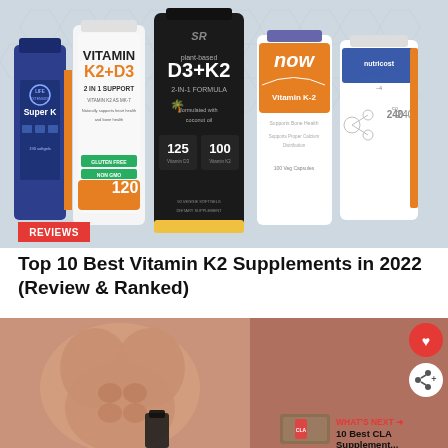[Figure (photo): Five vitamin K2 supplement bottles arranged side by side on a grey honeycomb patterned background. Products include Life Extension Super K, Vitamin K2+D3 2-in-1 Support, Sports Research plant-based D3+K2 2-in-1 Formula with coconut oil, NOW Vitamin K-2 100mcg, and Nutricost Vitamin K2. A red REVIEWS badge appears in the bottom left.]
Top 10 Best Vitamin K2 Supplements in 2022 (Review & Ranked)
[Figure (photo): Athletic muscular man holding a black supplement bottle, photographed from the torso up against a brown/tan background. A red heart icon button and white share icon button appear on the right side. A 'WHAT'S NEXT' panel in bottom right shows a thumbnail and text '10 Best CLA Supplement...']